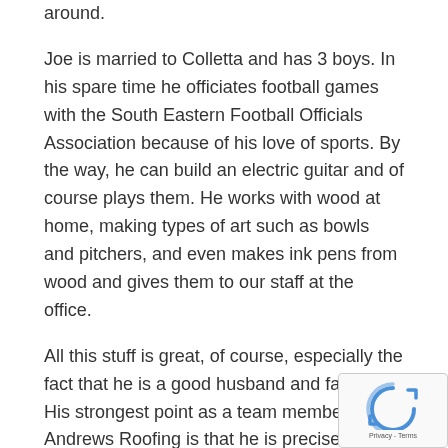around.
Joe is married to Colletta and has 3 boys. In his spare time he officiates football games with the South Eastern Football Officials Association because of his love of sports. By the way, he can build an electric guitar and of course plays them. He works with wood at home, making types of art such as bowls and pitchers, and even makes ink pens from wood and gives them to our staff at the office.
All this stuff is great, of course, especially the fact that he is a good husband and father. His strongest point as a team member at Andrews Roofing is that he is precise, hard-